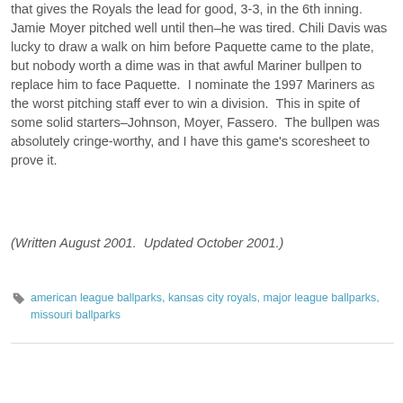that gives the Royals the lead for good, 3-3, in the 6th inning. Jamie Moyer pitched well until then–he was tired. Chili Davis was lucky to draw a walk on him before Paquette came to the plate, but nobody worth a dime was in that awful Mariner bullpen to replace him to face Paquette. I nominate the 1997 Mariners as the worst pitching staff ever to win a division. This in spite of some solid starters–Johnson, Moyer, Fassero. The bullpen was absolutely cringe-worthy, and I have this game's scoresheet to prove it.
(Written August 2001.  Updated October 2001.)
american league ballparks, kansas city royals, major league ballparks, missouri ballparks